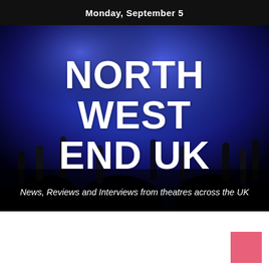Monday, September 5
NORTH WEST END UK
News, Reviews and Interviews from theatres across the UK
[Figure (illustration): Pink/rose colored square in the bottom-right corner of the white area below the hero banner]